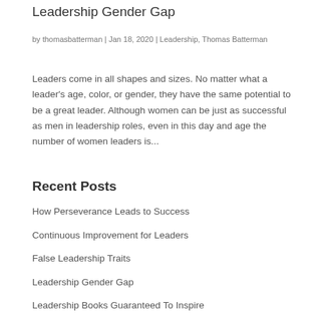Leadership Gender Gap
by thomasbatterman | Jan 18, 2020 | Leadership, Thomas Batterman
Leaders come in all shapes and sizes. No matter what a leader's age, color, or gender, they have the same potential to be a great leader. Although women can be just as successful as men in leadership roles, even in this day and age the number of women leaders is...
Recent Posts
How Perseverance Leads to Success
Continuous Improvement for Leaders
False Leadership Traits
Leadership Gender Gap
Leadership Books Guaranteed To Inspire